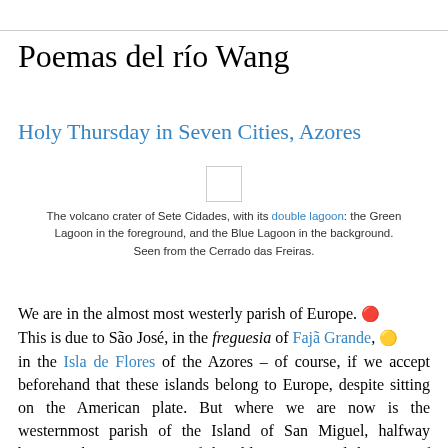Poemas del río Wang
Holy Thursday in Seven Cities, Azores
[Figure (photo): Small placeholder image thumbnail of the volcano crater of Sete Cidades with double lagoon]
The volcano crater of Sete Cidades, with its double lagoon: the Green Lagoon in the foreground, and the Blue Lagoon in the background. Seen from the Cerrado das Freiras.
We are in the almost most westerly parish of Europe. 🔴 This is due to São José, in the freguesia of Fajã Grande, 🟢 in the Isla de Flores of the Azores – of course, if we accept beforehand that these islands belong to Europe, despite sitting on the American plate. But where we are now is the westernmost parish of the Island of San Miguel, halfway between the Finis Terrae of the old continent and the coast of Newfoundland. Exactly, in the front of the church of San Nicolás, erected in the nineteenth century, in a particularly